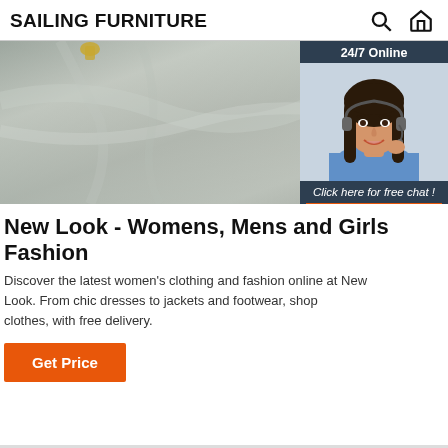SAILING FURNITURE
[Figure (photo): Close-up photo of grey/silver fabric draped with subtle folds and light reflection, with gold hooks visible at top. Overlaid with a 24/7 online chat widget showing a smiling female customer service agent with headset, dark hair, blue shirt. Widget has dark navy background with 'Click here for free chat!' text and orange QUOTATION button.]
New Look - Womens, Mens and Girls Fashion
Discover the latest women's clothing and fashion online at New Look. From chic dresses to jackets and footwear, shop clothes, with free delivery.
Get Price